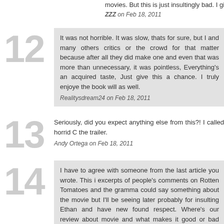movies. But this is just insultingly bad. I give it somewhere between
ZZZ on Feb 18, 2011
12 - It was not horrible. It was slow, thats for sure, but I and many others critics or the crowd for that matter because after all they did make one and even that was more than unnecessary, it was pointless, Everything's an acquired taste, Just give this a chance. I truly enjoyed the book will as well.
Realitysdream24 on Feb 18, 2011
13 - Seriously, did you expect anything else from this?! I called horrid C the trailer.
Andy Ortega on Feb 18, 2011
14 - I have to agree with someone from the last article you wrote. This is excerpts of people's comments on Rotten Tomatoes and the gramma could say something about the movie but I'll be seeing later probably for insulting Ethan and have new found respect. Where's our review about movie and what makes it good or bad without sounding like a for CW but not Jersey Shore.
Tra la la la la di da on Feb 19, 2011